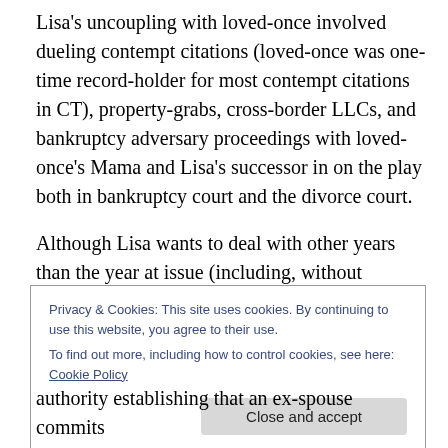Lisa's uncoupling with loved-once involved dueling contempt citations (loved-once was one-time record-holder for most contempt citations in CT), property-grabs, cross-border LLCs, and bankruptcy adversary proceedings with loved-once's Mama and Lisa's successor in on the play both in bankruptcy court and the divorce court.
Although Lisa wants to deal with other years than the year at issue (including, without limitation, 2020, for which she hasn't even filed a return), it boils down to two (count 'em,
Privacy & Cookies: This site uses cookies. By continuing to use this website, you agree to their use.
To find out more, including how to control cookies, see here: Cookie Policy
authority establishing that an ex-spouse commits